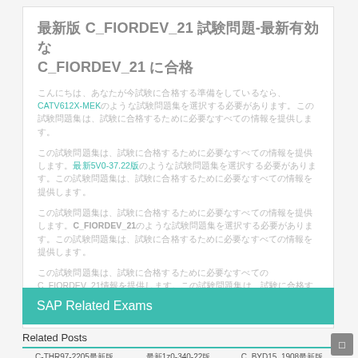最新版 C_FIORDEV_21 試験問題-最新有効な C_FIORDEV_21 に合格
こんにちは、あなたが今試験に合格する準備をしているなら、CATV612X-MEKのような試験問題集を選択する必要があります。この試験問題集は、試験に合格するために必要なすべての情報を提供します。
この試験問題集は、試験に合格するために必要なすべての情報を提供します。5V0-37.22のような試験問題集を選択する必要があります。この試験問題集は、試験に合格するために必要なすべての情報を提供します。
この試験問題集は、試験に合格するために必要なすべての情報を提供します。C_FIORDEV_21のような試験問題集を選択する必要があります。この試験問題集は、試験に合格するために必要なすべての情報を提供します。
この試験問題集は、試験に合格するために必要なすべてのC_FIORDEV_21情報を提供します。この試験問題集は、試験に合格するために必要なすべての情報を提供します。
SAP Related Exams
Related Posts
C-THR97-2205最新版
最新1z0-340-22版
C_BYD15_1908最新版